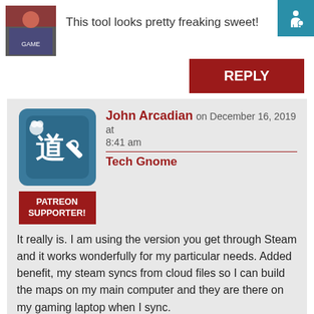[Figure (illustration): User avatar thumbnail, top comment area, partially visible game-related image]
This tool looks pretty freaking sweet!
REPLY
John Arcadian on December 16, 2019 at 8:41 am
Tech Gnome
[Figure (illustration): John Arcadian avatar - blue rounded square with Asian characters and wrench icon]
PATREON SUPPORTER!
It really is. I am using the version you get through Steam and it works wonderfully for my particular needs. Added benefit, my steam syncs from cloud files so I can build the maps on my main computer and they are there on my gaming laptop when I sync.
One thing that would be incredibly